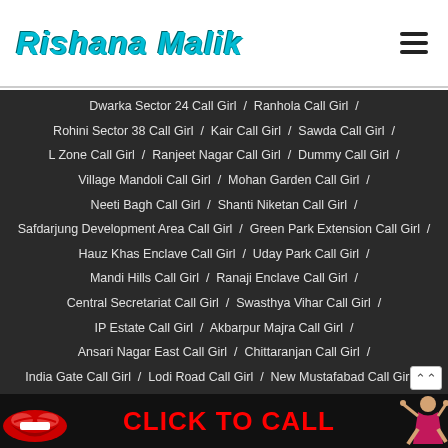Rishana Malik
Dwarka Sector 24 Call Girl / Ranhola Call Girl /
Rohini Sector 38 Call Girl / Kair Call Girl / Sawda Call Girl /
L Zone Call Girl / Ranjeet Nagar Call Girl / Dummy Call Girl /
Village Mandoli Call Girl / Mohan Garden Call Girl /
Neeti Bagh Call Girl / Shanti Niketan Call Girl /
Safdarjung Development Area Call Girl / Green Park Extension Call Girl /
Hauz Khas Enclave Call Girl / Uday Park Call Girl /
Mandi Hills Call Girl / Ranaji Enclave Call Girl /
Central Secretariat Call Girl / Swasthya Vihar Call Girl /
IP Estate Call Girl / Akbarpur Majra Call Girl /
Ansari Nagar East Call Girl / Chittaranjan Call Girl /
India Gate Call Girl / Lodi Road Call Girl / New Mustafabad Call Girl /
Qutabgarh Call Girl / Shakur Basti Call Girl /
[Figure (infographic): Banner with lips icon, CLICK TO CALL text in red, and figure illustration]